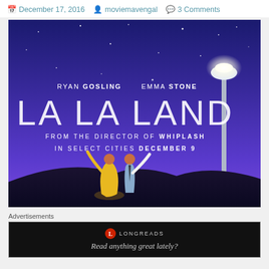December 17, 2016   moviemavengal   3 Comments
[Figure (photo): La La Land movie poster featuring Ryan Gosling and Emma Stone dancing under a street lamp against a purple/blue starry sky. Text reads: RYAN GOSLING  EMMA STONE / LA LA LAND / FROM THE DIRECTOR OF WHIPLASH / IN SELECT CITIES DECEMBER 9]
Advertisements
[Figure (screenshot): Longreads advertisement: black background with Longreads logo and text 'Read anything great lately?']